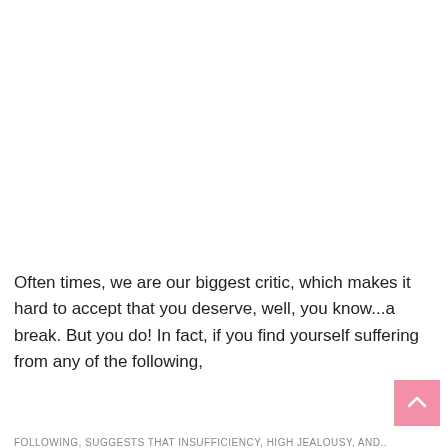Often times, we are our biggest critic, which makes it hard to accept that you deserve, well, you know...a break. But you do! In fact, if you find yourself suffering from any of the following,
FOLLOWING, SUGGESTS THAT INSUFFICIENCY, HIGH JEALOUSY, AND...